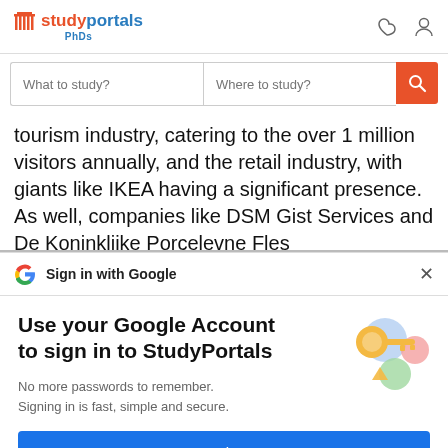[Figure (screenshot): StudyPortals PhDs website header with logo, heart icon, and user icon]
[Figure (screenshot): Search bar with 'What to study?' and 'Where to study?' inputs and orange search button]
tourism industry, catering to the over 1 million visitors annually, and the retail industry, with giants like IKEA having a significant presence. As well, companies like DSM Gist Services and De Koninklijke Porcelevne Fles
[Figure (screenshot): Google Sign in with Google banner with G logo and X close button]
Use your Google Account to sign in to StudyPortals
No more passwords to remember. Signing in is fast, simple and secure.
[Figure (illustration): Colorful Google key illustration with circles]
Continue